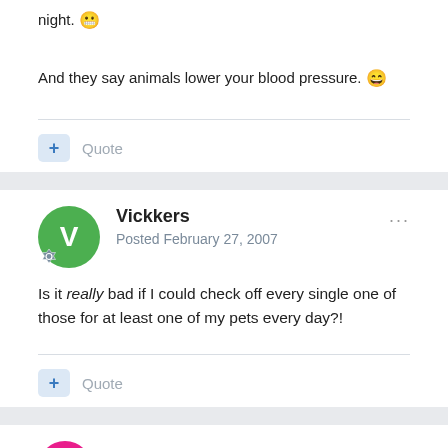night. 😬
And they say animals lower your blood pressure. 😄
+ Quote
Vickkers
Posted February 27, 2007
Is it really bad if I could check off every single one of those for at least one of my pets every day?!
+ Quote